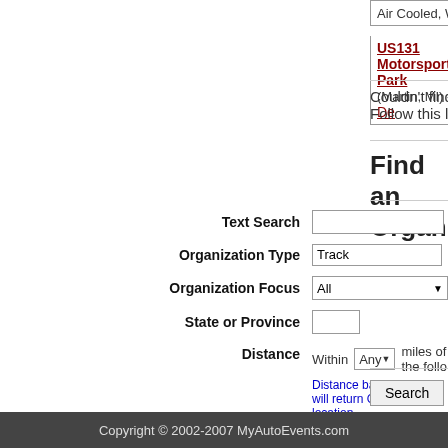Air Cooled, Water Cooled, and Kit Car Volkswagen Club
US131 Motorsports Park (Martin, MI) - Organization De...
Couldn't find the organization you are looking for? Follow this link to list your organization on MyAutoEvents
Find an Organization
Text Search | Organization Type: Track | Organization Focus: All | State or Province | Distance: Within Any miles of the follo... Distance based criteria will return ONL... location.
Search
Copyright © 2002-2007 MyAutoEvents.com